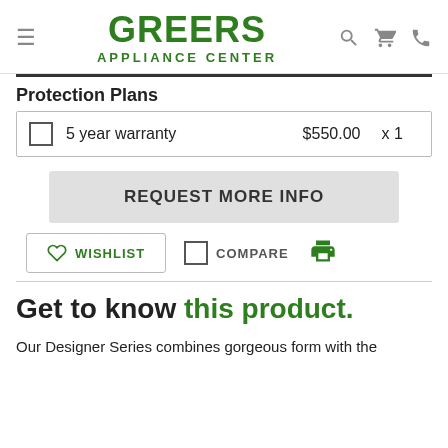GREERS APPLIANCE CENTER
Protection Plans
|  | Description | Price | Qty |
| --- | --- | --- | --- |
| ☐ | 5 year warranty | $550.00 | x 1 |
REQUEST MORE INFO
WISHLIST  COMPARE
Get to know this product.
Our Designer Series combines gorgeous form with the